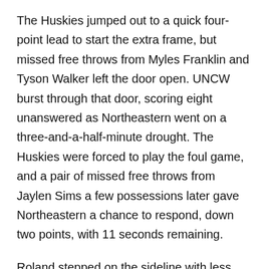The Huskies jumped out to a quick four-point lead to start the extra frame, but missed free throws from Myles Franklin and Tyson Walker left the door open. UNCW burst through that door, scoring eight unanswered as Northeastern went on a three-and-a-half-minute drought. The Huskies were forced to play the foul game, and a pair of missed free throws from Jaylen Sims a few possessions later gave Northeastern a chance to respond, down two points, with 11 seconds remaining.
Roland stepped on the sideline with less than three ticks on the clock, but Franklin forced the ball off of Marten Linssen's leg with .6 seconds left. The ensuing inbounds play found Roland in the corner with a chance to win, but he couldn't get the shot off in time as the Seahawks came away with the victory.